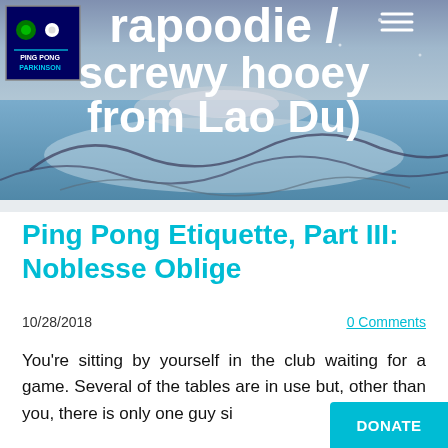[Figure (illustration): Website header banner with swirling blue and white watercolor-style art background, a Ping Pong Parkinson logo in the top-left corner, a hamburger menu icon in the top-right, and large white bold text reading 'rapoodie / screwy hooey from Lao Du)']
Ping Pong Etiquette, Part III: Noblesse Oblige
10/28/2018
0 Comments
You're sitting by yourself in the club waiting for a game. Several of the tables are in use but, other than you, there is only one guy si... b... a... ti... o... a... d...